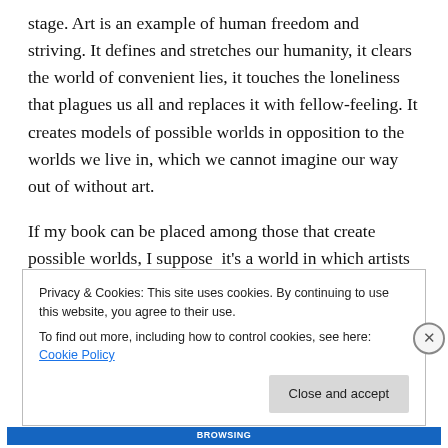stage. Art is an example of human freedom and striving. It defines and stretches our humanity, it clears the world of convenient lies, it touches the loneliness that plagues us all and replaces it with fellow-feeling. It creates models of possible worlds in opposition to the worlds we live in, which we cannot imagine our way out of without art.
If my book can be placed among those that create possible worlds, I suppose  it's a world in which artists can talk about art with dignity, because there is nothing to ridicule there.
Privacy & Cookies: This site uses cookies. By continuing to use this website, you agree to their use.
To find out more, including how to control cookies, see here: Cookie Policy